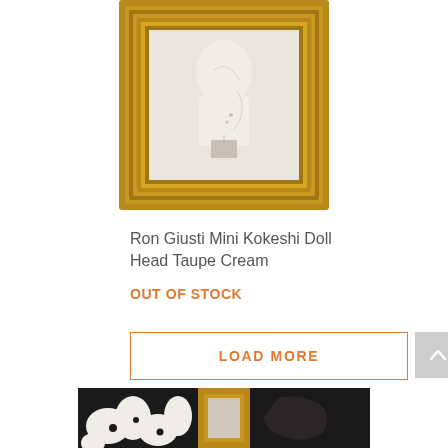[Figure (photo): A small artwork/print of a Kokeshi doll head in taupe and cream tones, displayed in an ornate gold wooden frame, photographed against a white background.]
Ron Giusti Mini Kokeshi Doll Head Taupe Cream
OUT OF STOCK
LOAD MORE
[Figure (photo): Partial view of three artworks at the bottom of the page: a black and white abstract floral/organic pattern print, a gold-framed artwork, and a dark/black artwork.]